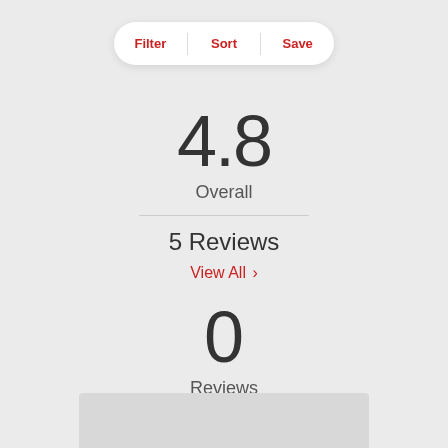Filter | Sort | Save
4.8
Overall
5 Reviews
View All ›
0
Reviews